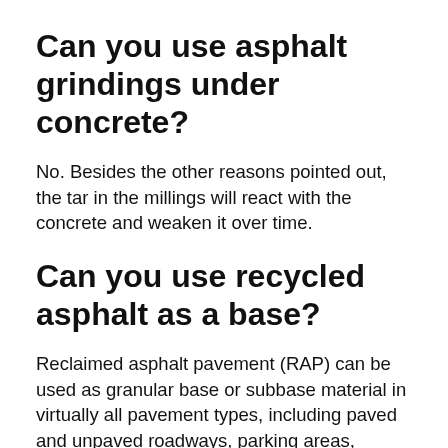Can you use asphalt grindings under concrete?
No. Besides the other reasons pointed out, the tar in the millings will react with the concrete and weaken it over time.
Can you use recycled asphalt as a base?
Reclaimed asphalt pavement (RAP) can be used as granular base or subbase material in virtually all pavement types, including paved and unpaved roadways, parking areas, bicycle paths, gravel road rehabilitation, shoulders, residential driveways, trench